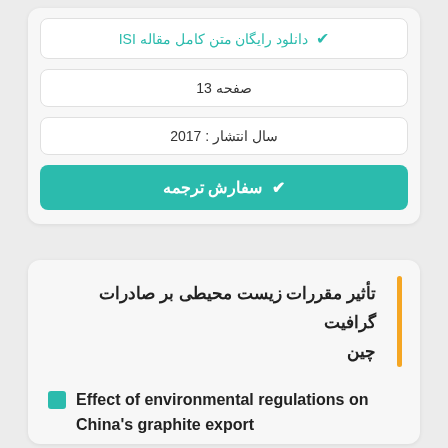✔ دانلود رایگان متن کامل مقاله ISI
13 صفحه
سال انتشار : 2017
✔ سفارش ترجمه
تأثیر مقررات زیست محیطی بر صادرات گرافیت چین
Effect of environmental regulations on China's graphite export